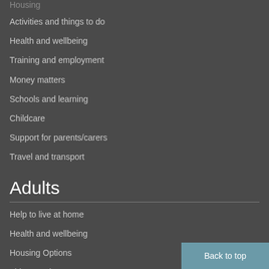Housing
Activities and things to do
Health and wellbeing
Training and employment
Money matters
Schools and learning
Childcare
Support for parents/carers
Travel and transport
Adults
Help to live at home
Health and wellbeing
Housing Options
Things to do
Travel and transport
Looking after someone
Disabilities
Back to top